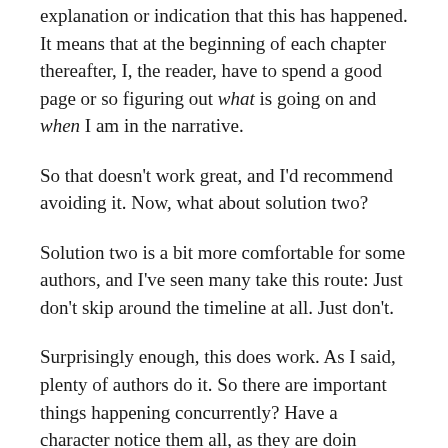explanation or indication that this has happened. It means that at the beginning of each chapter thereafter, I, the reader, have to spend a good page or so figuring out what is going on and when I am in the narrative.
So that doesn't work great, and I'd recommend avoiding it. Now, what about solution two?
Solution two is a bit more comfortable for some authors, and I've seen many take this route: Just don't skip around the timeline at all. Just don't.
Surprisingly enough, this does work. As I said, plenty of authors do it. So there are important things happening concurrently? Have a character notice them all, as they are doin...